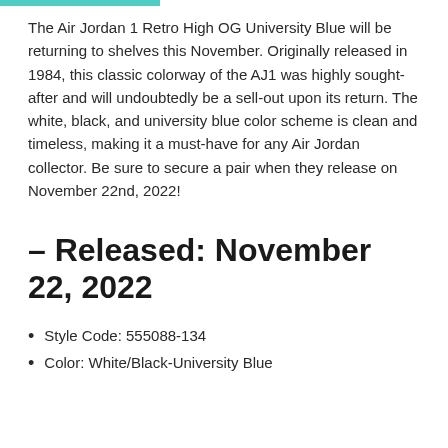The Air Jordan 1 Retro High OG University Blue will be returning to shelves this November. Originally released in 1984, this classic colorway of the AJ1 was highly sought-after and will undoubtedly be a sell-out upon its return. The white, black, and university blue color scheme is clean and timeless, making it a must-have for any Air Jordan collector. Be sure to secure a pair when they release on November 22nd, 2022!
– Released: November 22, 2022
Style Code: 555088-134
Color: White/Black-University Blue